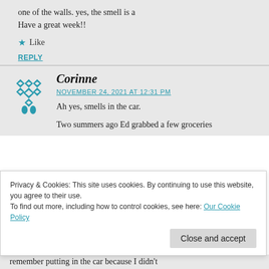one of the walls. yes, the smell is a Have a great week!!
Like
REPLY
Corinne
NOVEMBER 24, 2021 AT 12:31 PM
Ah yes, smells in the car.
Two summers ago Ed grabbed a few groceries
Privacy & Cookies: This site uses cookies. By continuing to use this website, you agree to their use.
To find out more, including how to control cookies, see here: Our Cookie Policy
Close and accept
remember putting in the car because I didn't